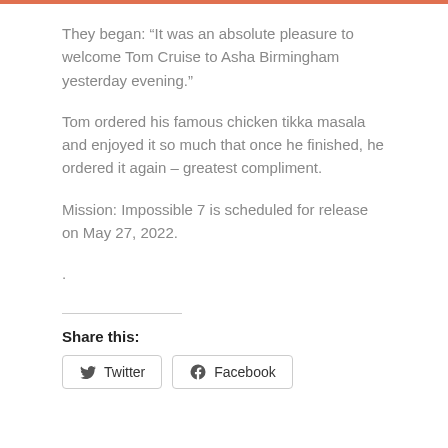They began: “It was an absolute pleasure to welcome Tom Cruise to Asha Birmingham yesterday evening.”
Tom ordered his famous chicken tikka masala and enjoyed it so much that once he finished, he ordered it again – greatest compliment.
Mission: Impossible 7 is scheduled for release on May 27, 2022.
.
Share this:
Twitter
Facebook